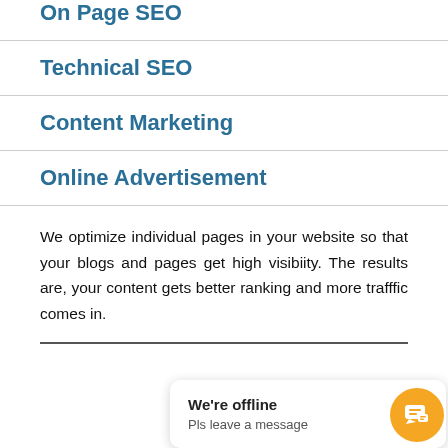On Page SEO
Technical SEO
Content Marketing
Online Advertisement
We optimize individual pages in your website so that your blogs and pages get high visibiity. The results are, your content gets better ranking and more trafffic comes in.
We're offline
Pls leave a message